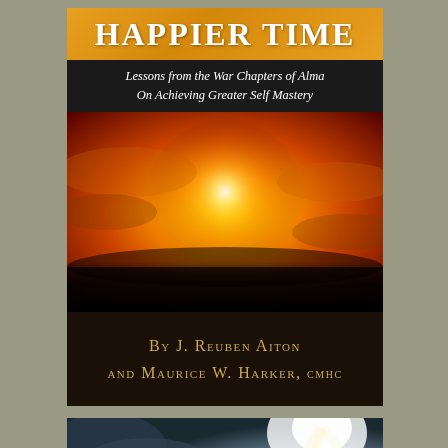[Figure (illustration): Book cover for 'Happier Time: Lessons from the War Chapters of Alma On Achieving Greater Self Mastery' by J. Reuben Aiton and Maurice W. Harker, CMHC. Features an orange title bar at top, black subtitle bar, a central image of a warrior silhouette holding a sword backlit by a brilliant golden sunset, and a dark author credit area at the bottom with gold lettering.]
[Figure (photo): Dramatic sky photograph showing clouds with a bright light source (possibly sun or divine light) breaking through on the right side, with dark stormy clouds on the left and lighter clouds below.]